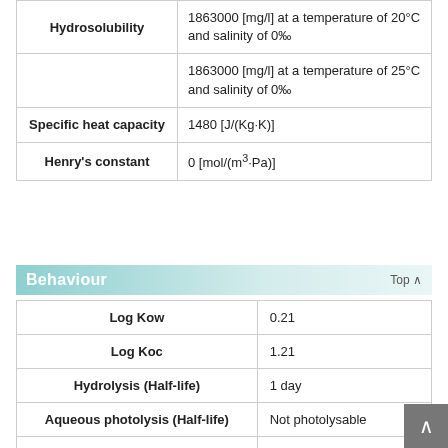| Property | Value |
| --- | --- |
| Hydrosolubility | 1863000 [mg/l] at a temperature of 20°C and salinity of 0‰ |
| Hydrosolubility | 1863000 [mg/l] at a temperature of 25°C and salinity of 0‰ |
| Specific heat capacity | 1480 [J/(Kg·K)] |
| Henry's constant | 0 [mol/(m³·Pa)] |
Behaviour
| Property | Value |
| --- | --- |
| Log Kow | 0.21 |
| Log Koc | 1.21 |
| Hydrolysis (Half-life) | 1 day |
| Aqueous photolysis (Half-life) | Not photolysable |
| Biodegradation in estuary environment | Not |